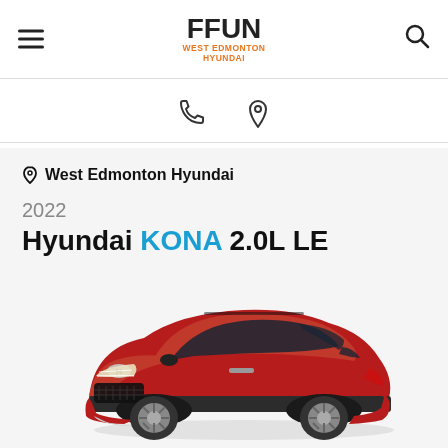FFUN WEST EDMONTON HYUNDAI
West Edmonton Hyundai
2022 Hyundai KONA 2.0L LE
[Figure (photo): 2022 Hyundai Kona 2.0L LE in red, three-quarter front view on white background]